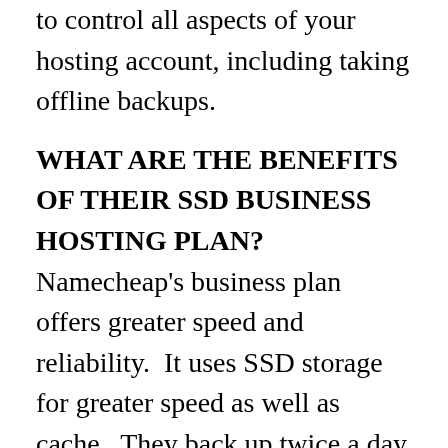to control all aspects of your hosting account, including taking offline backups.
WHAT ARE THE BENEFITS OF THEIR SSD BUSINESS HOSTING PLAN?
Namecheap's business plan offers greater speed and reliability.  It uses SSD storage for greater speed as well as cache.  They back up twice a day instead of once per day on other plans.  The business plan is also PCI compliant which is essential if you intend to store credit card details on your server.
The base SSD Business plan comes with 20GB SSD storage, but there are upgrades available if you need this.